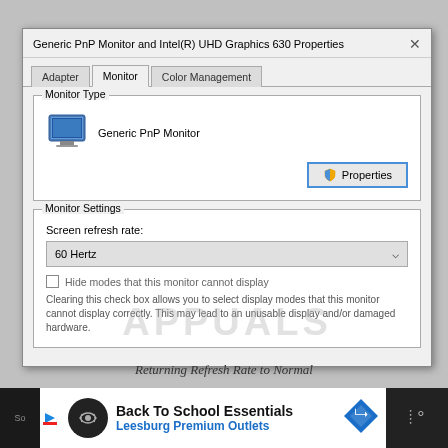[Figure (screenshot): Windows dialog box titled 'Generic PnP Monitor and Intel(R) UHD Graphics 630 Properties' showing the Monitor tab with Monitor Type section displaying 'Generic PnP Monitor' with a monitor icon and Properties button, and Monitor Settings section with Screen refresh rate dropdown set to '60 Hertz', a checkbox for 'Hide modes that this monitor cannot display', and warning text about clearing the checkbox.]
Returning Refresh Rate to Normal
[Figure (infographic): Advertisement bar for 'Back To School Essentials - Leesburg Premium Outlets']